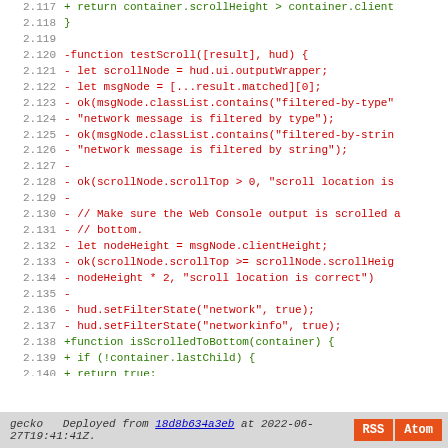[Figure (screenshot): Code diff screenshot showing lines 2.117 to 2.145 with green additions (+) and red deletions (-) in monospace font, followed by a footer bar with deployment info and RSS/Atom buttons.]
gecko  Deployed from 18d8b634a3eb at 2022-06-27T19:41:41Z.  RSS  Atom